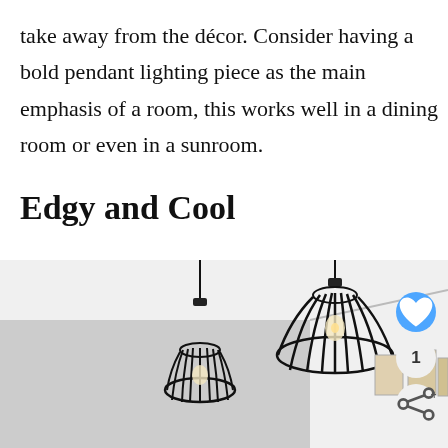take away from the décor. Consider having a bold pendant lighting piece as the main emphasis of a room, this works well in a dining room or even in a sunroom.
Edgy and Cool
[Figure (photo): Two black cage-style pendant lights hanging from ceiling in a white room, with framed artwork visible in the background on the right side. Social sharing buttons (heart, number 1, share) overlaid on the bottom-right corner of the image.]